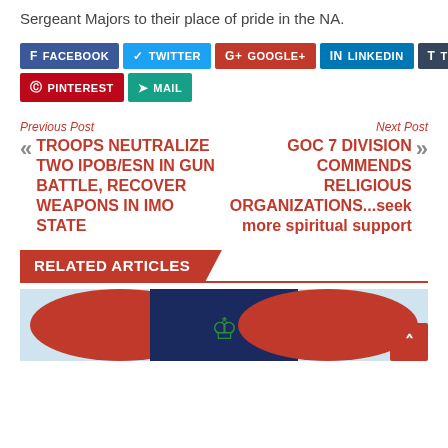Sergeant Majors to their place of pride in the NA.
[Figure (infographic): Social media share buttons: Facebook, Twitter, Google+, LinkedIn, Tumblr, Pinterest, Mail]
Previous Post
TROOPS NEUTRALIZE TWO IPOB/ESN IN GUN BATTLE, RECOVER WEAPONS IN IMO STATE
Next Post
GOC 7 DIVISION COMMENDS RELIGIOUS ORGANIZATIONS...seek more spiritual support
RELATED ARTICLES
[Figure (photo): Related article thumbnail image showing Nigerian Army eagle emblem with red and dark background]